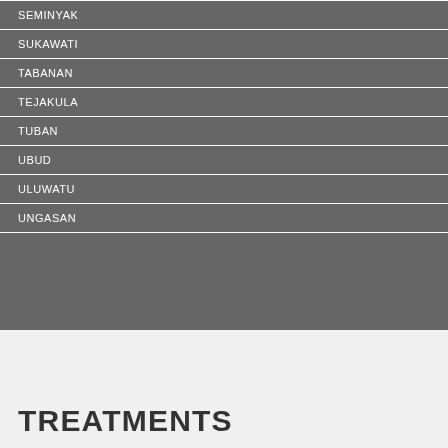SEMINYAK
SUKAWATI
TABANAN
TEJAKULA
TUBAN
UBUD
ULUWATU
UNGASAN
TREATMENTS